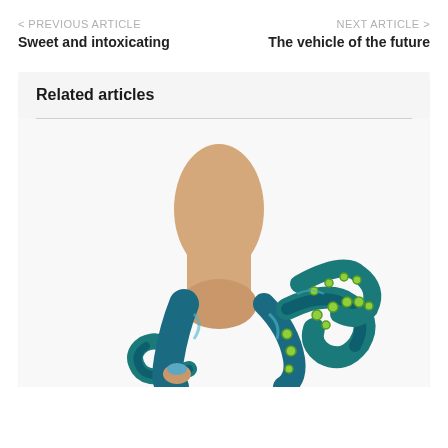< PREVIOUS ARTICLE
Sweet and intoxicating
NEXT ARTICLE >
The vehicle of the future
Related articles
[Figure (photo): A foot wearing an artistic high-heel shoe designed to look like octopus tentacles in teal/blue-green with yellow-green suction cups, photographed against a white background.]